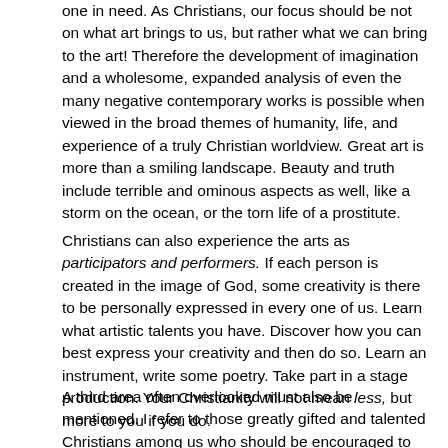one in need. As Christians, our focus should be not on what art brings to us, but rather what we can bring to the art! Therefore the development of imagination and a wholesome, expanded analysis of even the many negative contemporary works is possible when viewed in the broad themes of humanity, life, and experience of a truly Christian worldview. Great art is more than a smiling landscape. Beauty and truth include terrible and ominous aspects as well, like a storm on the ocean, or the torn life of a prostitute.
Christians can also experience the arts as participators and performers. If each person is created in the image of God, some creativity is there to be personally expressed in every one of us. Learn what artistic talents you have. Discover how you can best express your creativity and then do so. Learn an instrument, write some poetry. Take part in a stage production. Your Christianity will not mean less, but more to you if you do.
A third area often overlooked must also be mentioned. I refer to those greatly gifted and talented Christians among us who should be encouraged to consider the arts as a career. A Christian influence in the arts is